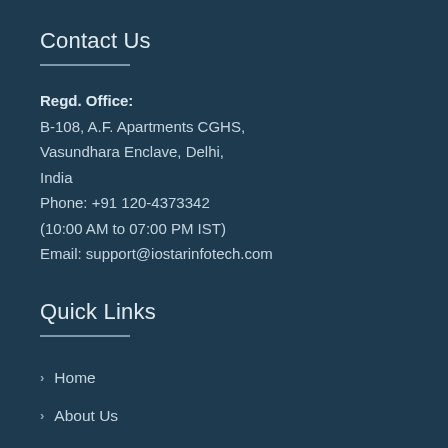Contact Us
Regd. Office:
B-108, A.F. Apartments CGHS,
Vasundhara Enclave, Delhi,
India
Phone: +91 120-4373342
(10:00 AM to 07:00 PM IST)
Email: support@iostarinfotech.com
Quick Links
Home
About Us
E-Learning Services
Ecommerce Services